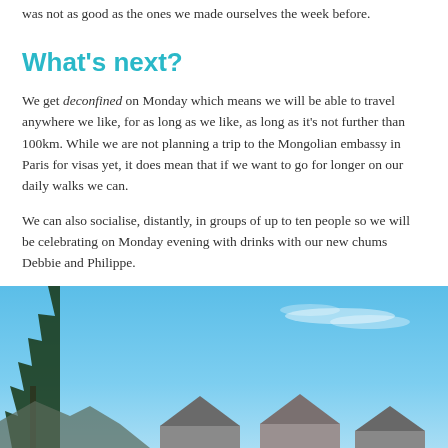was not as good as the ones we made ourselves the week before.
What's next?
We get deconfined on Monday which means we will be able to travel anywhere we like, for as long as we like, as long as it's not further than 100km. While we are not planning a trip to the Mongolian embassy in Paris for visas yet, it does mean that if we want to go for longer on our daily walks we can.
We can also socialise, distantly, in groups of up to ten people so we will be celebrating on Monday evening with drinks with our new chums Debbie and Philippe.
[Figure (photo): Outdoor photo with blue sky, tree on left, and rooftops of buildings visible at the bottom, with some wispy clouds.]